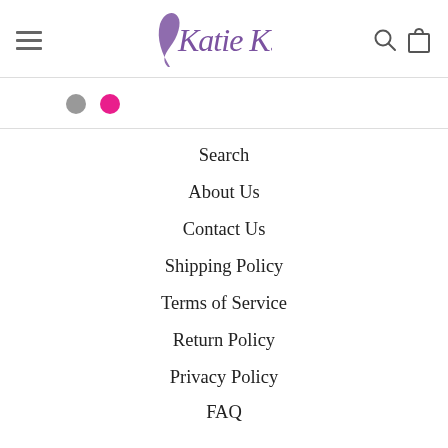Katie K. — navigation header with hamburger menu, logo, search and cart icons
[Figure (other): Two carousel indicator dots: gray and pink]
Search
About Us
Contact Us
Shipping Policy
Terms of Service
Return Policy
Privacy Policy
FAQ